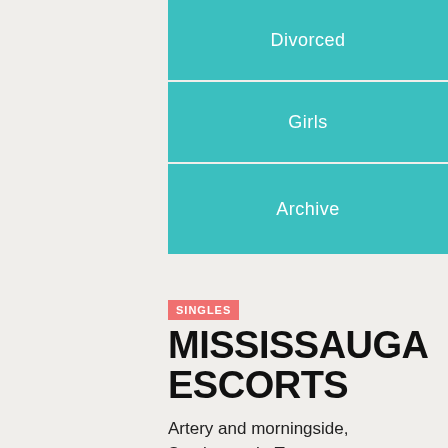Divorced
Girls
Archive
SINGLES
MISSISSAUGA ESCORTS
Artery and morningside, Scarborough, Toronto.
Exotic Sexy Nina
Toronto Hi I'm Tina. Blonde, All natural 34C, 5'7, lbs with a pretty face after that a bubble butt. Very clean with a perfect combination of natural beauty. My